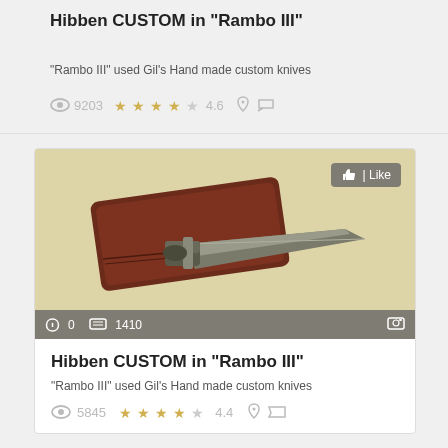Hibben CUSTOM in "Rambo III"
"Rambo III" used Gil's Hand made custom knives
9203  ★★★★☆ 4.6
[Figure (photo): Photo of a Hibben custom knife with leather sheath, with Like button overlay and stats bar showing 0 likes and 1410 comments]
Hibben CUSTOM in "Rambo III"
"Rambo III" used Gil's Hand made custom knives
5845  ★★★★☆ 4.4